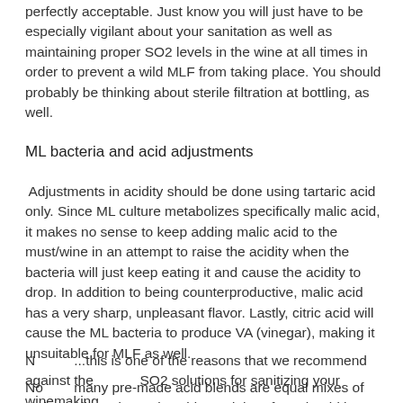perfectly acceptable. Just know you will just have to be especially vigilant about your sanitation as well as maintaining proper SO2 levels in the wine at all times in order to prevent a wild MLF from taking place. You should probably be thinking about sterile filtration at bottling, as well.
ML bacteria and acid adjustments
Adjustments in acidity should be done using tartaric acid only. Since ML culture metabolizes specifically malic acid, it makes no sense to keep adding malic acid to the must/wine in an attempt to raise the acidity when the bacteria will just keep eating it and cause the acidity to drop. In addition to being counterproductive, malic acid has a very sharp, unpleasant flavor. Lastly, citric acid will cause the ML bacteria to produce VA (vinegar), making it unsuitable for MLF as well.
N... ...this is one of the reasons that we recommend against the ...SO2 solutions for sanitizing your winemaking
No... ...many pre-made acid blends are equal mixes of citric, malic and tartaric acids, and therefore should be avoided as well...